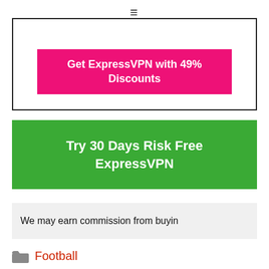≡
[Figure (other): Pink button with text 'Get ExpressVPN with 49% Discounts' inside a bordered box]
[Figure (other): Green button with text 'Try 30 Days Risk Free ExpressVPN']
We may earn commission from buying
Football